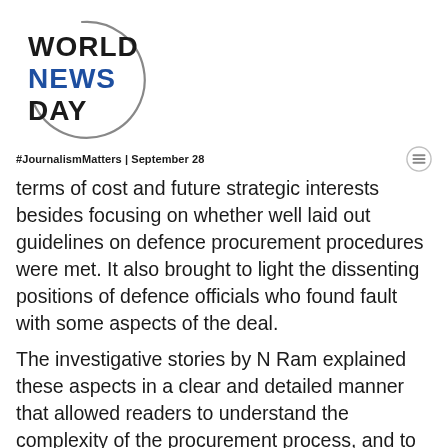[Figure (logo): World News Day logo with circular arc graphic and bold text reading WORLD NEWS DAY]
#JournalismMatters | September 28
terms of cost and future strategic interests besides focusing on whether well laid out guidelines on defence procurement procedures were met. It also brought to light the dissenting positions of defence officials who found fault with some aspects of the deal.
The investigative stories by N Ram explained these aspects in a clear and detailed manner that allowed readers to understand the complexity of the procurement process, and to make informed assessments of whether the deal fit the guidelines